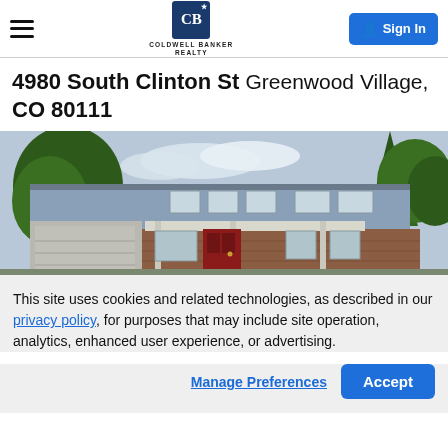Coldwell Banker Realty — navigation header with hamburger menu, logo, and Sign In button
4980 South Clinton St Greenwood Village, CO 80111
[Figure (photo): Exterior photo of a two-story house with blue siding, brick lower level, attached garage, red front door, and large trees surrounding it in Greenwood Village, CO]
This site uses cookies and related technologies, as described in our privacy policy, for purposes that may include site operation, analytics, enhanced user experience, or advertising.
Manage Preferences   Accept